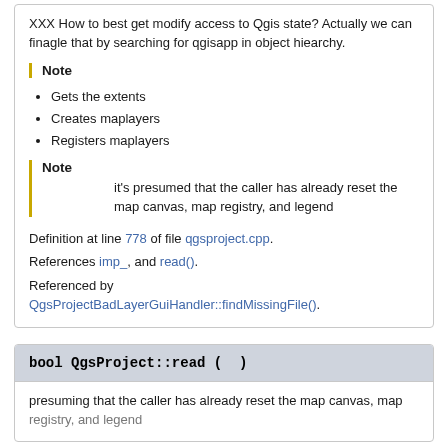XXX How to best get modify access to Qgis state? Actually we can finagle that by searching for qgisapp in object hiearchy.
Note
Gets the extents
Creates maplayers
Registers maplayers
Note
it's presumed that the caller has already reset the map canvas, map registry, and legend
Definition at line 778 of file qgsproject.cpp.
References imp_, and read().
Referenced by QgsProjectBadLayerGuiHandler::findMissingFile().
bool QgsProject::read ( )
presuming that the caller has already reset the map canvas, map registry, and legend